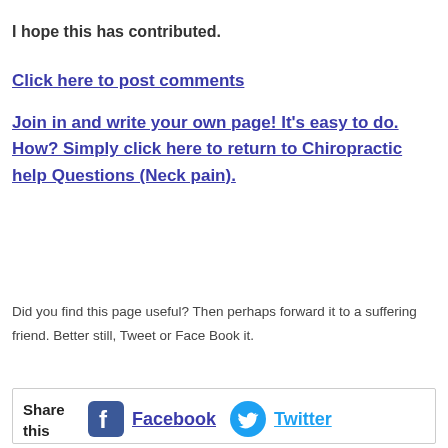I hope this has contributed.
Click here to post comments
Join in and write your own page! It's easy to do. How? Simply click here to return to Chiropractic help Questions (Neck pain).
Did you find this page useful? Then perhaps forward it to a suffering friend. Better still, Tweet or Face Book it.
[Figure (infographic): Share this box with Facebook and Twitter buttons]